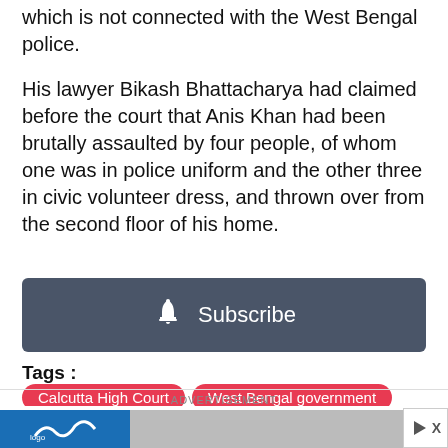which is not connected with the West Bengal police.
His lawyer Bikash Bhattacharya had claimed before the court that Anis Khan had been brutally assaulted by four people, of whom one was in police uniform and the other three in civic volunteer dress, and thrown over from the second floor of his home.
[Figure (other): Subscribe button with bell icon on dark gray background]
Tags : Calcutta High Court | West Bengal government | Anis Khan case | Advocate General S N Mookherjee
ADVERTISEMENT
[Figure (other): Advertisement banner strip at bottom of page]